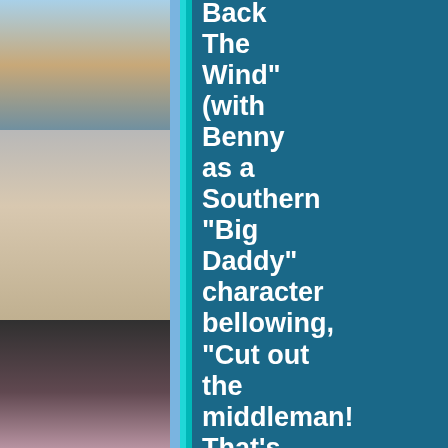[Figure (photo): Strip of 7 celebrity photos stacked vertically on the left side of the page]
Back The Wind" (with Benny as a Southern "Big Daddy" character bellowing, "Cut out the middleman! That's how I made my money - by cuttin' out the middleman!"), the old